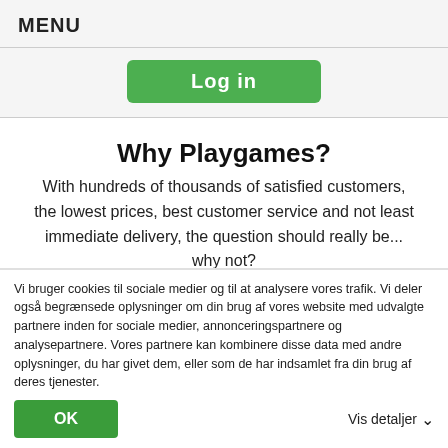MENU
[Figure (screenshot): Green 'Log in' button on light grey background]
Why Playgames?
With hundreds of thousands of satisfied customers, the lowest prices, best customer service and not least immediate delivery, the question should really be... why not?
Ja, det er endnu en cookie pop-up... 🍪
Vi bruger cookies til sociale medier og til at analysere vores trafik. Vi deler også begrænsede oplysninger om din brug af vores website med udvalgte partnere inden for sociale medier, annonceringspartnere og analysepartnere. Vores partnere kan kombinere disse data med andre oplysninger, du har givet dem, eller som de har indsamlet fra din brug af deres tjenester.
OK
Vis detaljer